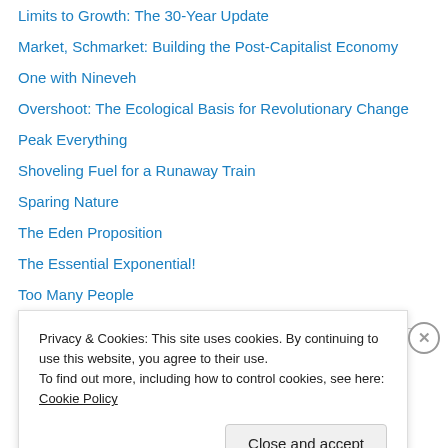Limits to Growth: The 30-Year Update
Market, Schmarket: Building the Post-Capitalist Economy
One with Nineveh
Overshoot: The Ecological Basis for Revolutionary Change
Peak Everything
Shoveling Fuel for a Runaway Train
Sparing Nature
The Eden Proposition
The Essential Exponential!
Too Many People
Ecology and Environmental Science
Privacy & Cookies: This site uses cookies. By continuing to use this website, you agree to their use.
To find out more, including how to control cookies, see here: Cookie Policy